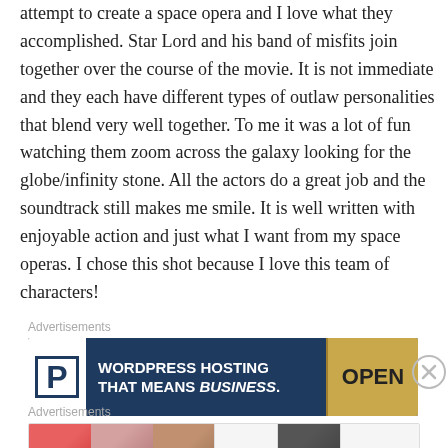attempt to create a space opera and I love what they accomplished. Star Lord and his band of misfits join together over the course of the movie. It is not immediate and they each have different types of outlaw personalities that blend very well together. To me it was a lot of fun watching them zoom across the galaxy looking for the globe/infinity stone. All the actors do a great job and the soundtrack still makes me smile. It is well written with enjoyable action and just what I want from my space operas. I chose this shot because I love this team of characters!
Advertisements
[Figure (other): Advertisement banner for WordPress Hosting with a 'P' logo box, text reading 'WORDPRESS HOSTING THAT MEANS BUSINESS.' and an OPEN sign image on the right.]
Advertisements
[Figure (other): Advertisement strip showing beauty/makeup photo thumbnails, an Ulta Beauty logo, more eye photos, and a 'SHOP NOW' call-to-action box.]